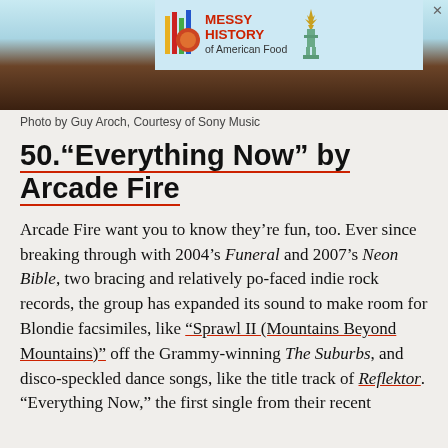[Figure (photo): Advertisement banner for 'Messy History of American Food' overlaid on a dark photographic background showing silhouettes of people. The ad features a colorful logo with vertical bars and a sphere, red bold text reading 'MESSY HISTORY of American Food', and an image of the Statue of Liberty.]
Photo by Guy Aroch, Courtesy of Sony Music
50."Everything Now" by Arcade Fire
Arcade Fire want you to know they're fun, too. Ever since breaking through with 2004's Funeral and 2007's Neon Bible, two bracing and relatively po-faced indie rock records, the group has expanded its sound to make room for Blondie facsimiles, like "Sprawl II (Mountains Beyond Mountains)" off the Grammy-winning The Suburbs, and disco-speckled dance songs, like the title track of Reflektor. "Everything Now," the first single from their recent